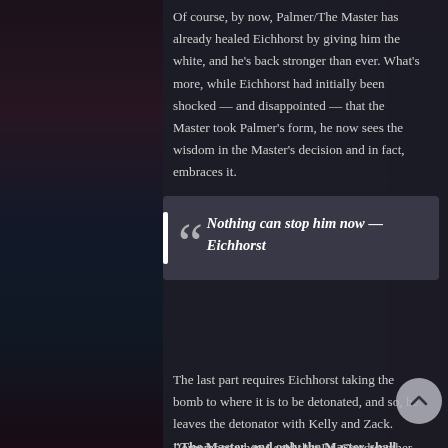Of course, by now, Palmer/The Master has already healed Eichhorst by giving him the white, and he's back stronger than ever. What's more, while Eichhorst had initially been shocked — and disappointed — that the Master took Palmer's form, he now sees the wisdom in the Master's decision and in fact, embraces it.
Nothing can stop him now — Eichhorst
The last part requires Eichhorst taking the bomb to where it is to be detonated, and so, he leaves the detonator with Kelly and Zack. "The Master, and only the Master, shall press the button" he says, but for some strange, unknown reason, I began to get a really bad feeling.
Remember when I said that Dr. Goodweather staying